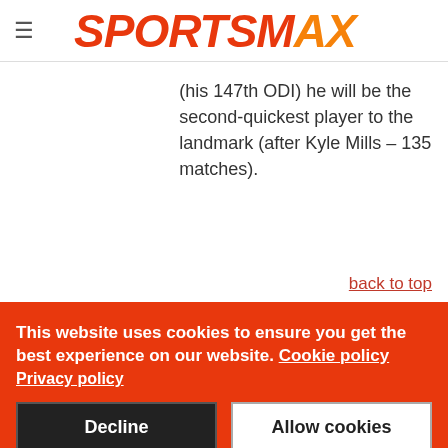SPORTSMAX
(his 147th ODI) he will be the second-quickest player to the landmark (after Kyle Mills – 135 matches).
back to top
This website uses cookies to ensure you get the best experience on our website. Cookie policy
Privacy policy
Decline
Allow cookies